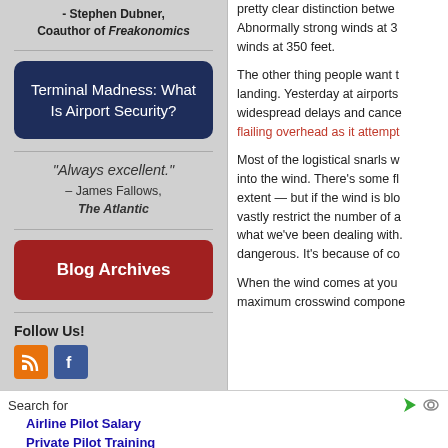- Stephen Dubner, Coauthor of Freakonomics
[Figure (other): Dark blue rounded rectangle button labeled 'Terminal Madness: What Is Airport Security?']
"Always excellent."
– James Fallows, The Atlantic
[Figure (other): Red rounded rectangle button labeled 'Blog Archives']
Follow Us!
[Figure (other): RSS and Facebook social media icons]
pretty clear distinction between... Abnormally strong winds at 35... winds at 350 feet.
The other thing people want t... landing. Yesterday at airports ... widespread delays and cance... flailing overhead as it attempt...
Most of the logistical snarls we... into the wind. There's some fle... extent — but if the wind is blo... vastly restrict the number of a... what we've been dealing with.... dangerous. It's because of co...
When the wind comes at you ... maximum crosswind compone...
Search for
Airline Pilot Salary
Private Pilot Training